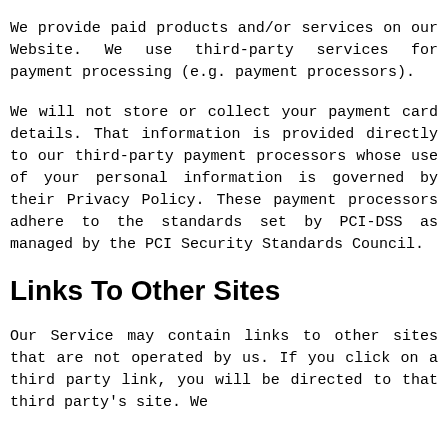We provide paid products and/or services on our Website. We use third-party services for payment processing (e.g. payment processors).
We will not store or collect your payment card details. That information is provided directly to our third-party payment processors whose use of your personal information is governed by their Privacy Policy. These payment processors adhere to the standards set by PCI-DSS as managed by the PCI Security Standards Council.
Links To Other Sites
Our Service may contain links to other sites that are not operated by us. If you click on a third party link, you will be directed to that third party's site. We